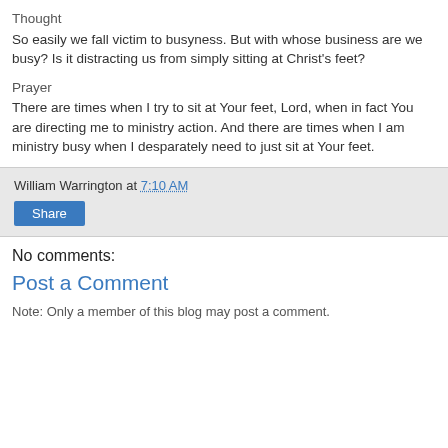Thought
So easily we fall victim to busyness. But with whose business are we busy? Is it distracting us from simply sitting at Christ's feet?
Prayer
There are times when I try to sit at Your feet, Lord, when in fact You are directing me to ministry action. And there are times when I am ministry busy when I desparately need to just sit at Your feet.
William Warrington at 7:10 AM
No comments:
Post a Comment
Note: Only a member of this blog may post a comment.